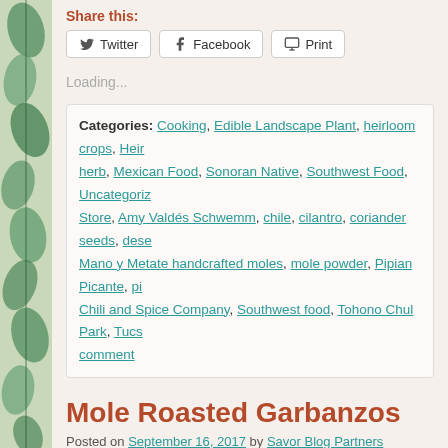Share this:
Twitter | Facebook | Print
Loading...
Categories: Cooking, Edible Landscape Plant, heirloom crops, Heirloom herb, Mexican Food, Sonoran Native, Southwest Food, Uncategorized Store, Amy Valdés Schwemm, chile, cilantro, coriander seeds, desert Mano y Metate handcrafted moles, mole powder, Pipian Picante, Chili and Spice Company, Southwest food, Tohono Chul Park, Tucson comment
Mole Roasted Garbanzos
Posted on September 16, 2017 by Savor Blog Partners
Hello, Amy here, sharing an EASY, tasty and very satisfying recipe. M... these, so THANK YOU to her!
Garbanzos have always been a favorite. They are a fun plant in the v...